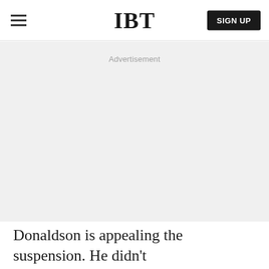IBT | SIGN UP
Advertisement
Donaldson is appealing the suspension. He didn't